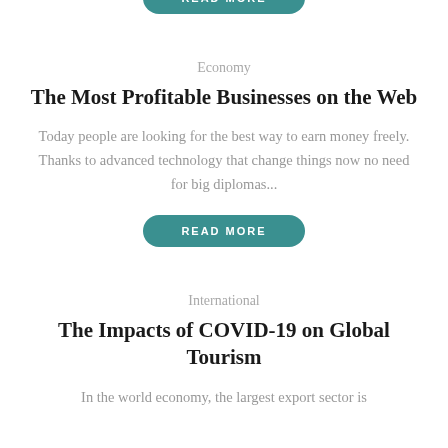[Figure (other): READ MORE button (teal/rounded) partially visible at top of page]
Economy
The Most Profitable Businesses on the Web
Today people are looking for the best way to earn money freely. Thanks to advanced technology that change things now no need for big diplomas...
[Figure (other): READ MORE button (teal/rounded)]
International
The Impacts of COVID-19 on Global Tourism
In the world economy, the largest export sector is...